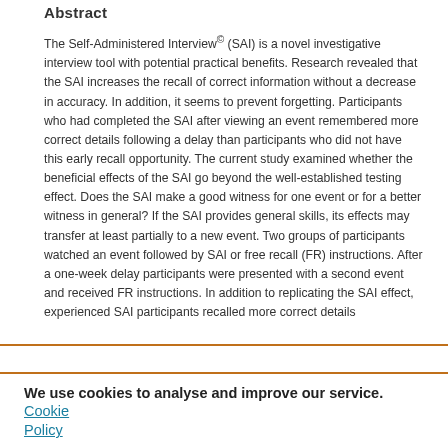Abstract
The Self-Administered Interview© (SAI) is a novel investigative interview tool with potential practical benefits. Research revealed that the SAI increases the recall of correct information without a decrease in accuracy. In addition, it seems to prevent forgetting. Participants who had completed the SAI after viewing an event remembered more correct details following a delay than participants who did not have this early recall opportunity. The current study examined whether the beneficial effects of the SAI go beyond the well-established testing effect. Does the SAI make a good witness for one event or for a better witness in general? If the SAI provides general skills, its effects may transfer at least partially to a new event. Two groups of participants watched an event followed by SAI or free recall (FR) instructions. After a one-week delay participants were presented with a second event and received FR instructions. In addition to replicating the SAI effect, experienced SAI participants recalled more correct details
We use cookies to analyse and improve our service. Cookie Policy